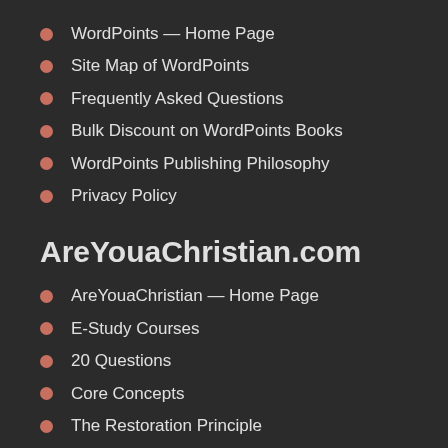WordPoints — Home Page
Site Map of WordPoints
Frequently Asked Questions
Bulk Discount on WordPoints Books
WordPoints Publishing Philosophy
Privacy Policy
AreYouaChristian.com
AreYouaChristian — Home Page
E-Study Courses
20 Questions
Core Concepts
The Restoration Principle